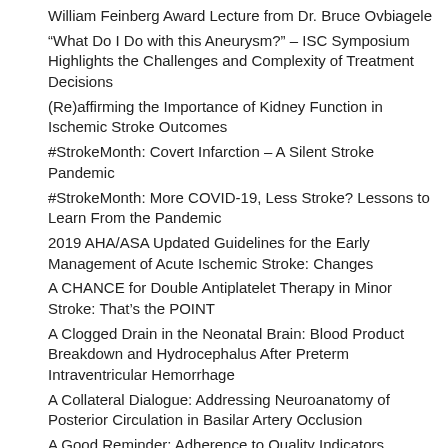William Feinberg Award Lecture from Dr. Bruce Ovbiagele
“What Do I Do with this Aneurysm?” – ISC Symposium Highlights the Challenges and Complexity of Treatment Decisions
(Re)affirming the Importance of Kidney Function in Ischemic Stroke Outcomes
#StrokeMonth: Covert Infarction – A Silent Stroke Pandemic
#StrokeMonth: More COVID-19, Less Stroke? Lessons to Learn From the Pandemic
2019 AHA/ASA Updated Guidelines for the Early Management of Acute Ischemic Stroke: Changes
A CHANCE for Double Antiplatelet Therapy in Minor Stroke: That's the POINT
A Clogged Drain in the Neonatal Brain: Blood Product Breakdown and Hydrocephalus After Preterm Intraventricular Hemorrhage
A Collateral Dialogue: Addressing Neuroanatomy of Posterior Circulation in Basilar Artery Occlusion
A Good Reminder: Adherence to Quality Indicators Associated with Decreased 7-Day Mortality
A New Independent Risk Factor for Stroke? A Brief Review of “Cumulative Concussion and Odds of Stroke in Former National Football League Players”
A New Look at ICAS from the SAMMPRIS Data
A New Tool to Quantify Severity, Extent and Course of Focal Cerebral Arteriopathy of Childhood Could Be Used for Treatment Trials